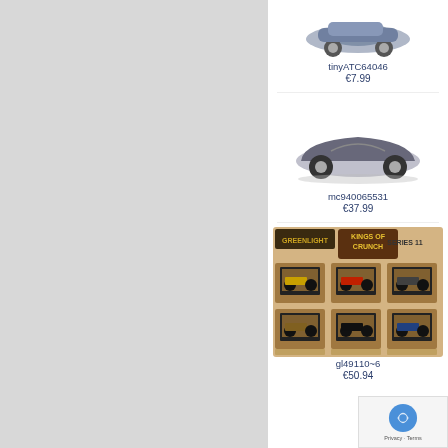[Figure (photo): Gray panel occupying the left portion of the page]
[Figure (photo): Die-cast model car (small blue car), product tinyATC64046]
tinyATC64046
€7.99
[Figure (photo): Die-cast model Porsche 356 Speedster convertible in dark color, product mc940065531]
mc940065531
€37.99
[Figure (photo): Greenlight Kings of Crunch Series 11 monster truck 6-pack set product image, gl49110~6]
gl49110~6
€50.94